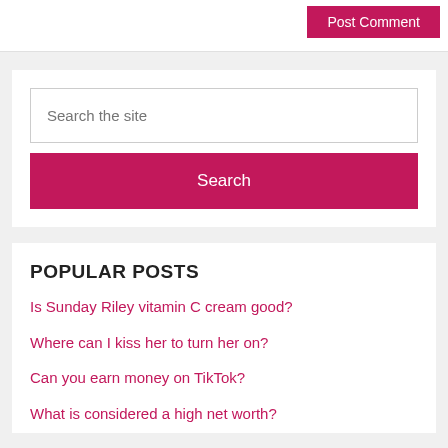Post Comment
Search the site
Search
POPULAR POSTS
Is Sunday Riley vitamin C cream good?
Where can I kiss her to turn her on?
Can you earn money on TikTok?
What is considered a high net worth?